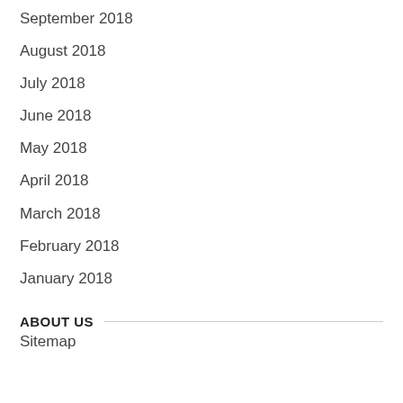September 2018
August 2018
July 2018
June 2018
May 2018
April 2018
March 2018
February 2018
January 2018
ABOUT US
Sitemap